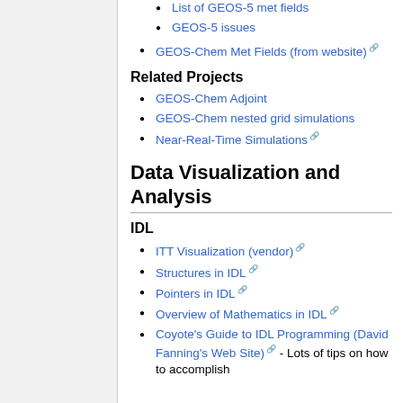List of GEOS-5 met fields
GEOS-5 issues
GEOS-Chem Met Fields (from website)
Related Projects
GEOS-Chem Adjoint
GEOS-Chem nested grid simulations
Near-Real-Time Simulations
Data Visualization and Analysis
IDL
ITT Visualization (vendor)
Structures in IDL
Pointers in IDL
Overview of Mathematics in IDL
Coyote's Guide to IDL Programming (David Fanning's Web Site) - Lots of tips on how to accomplish